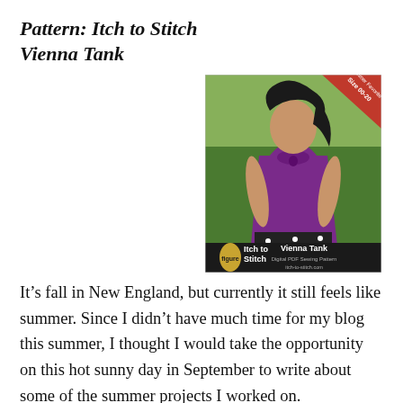Pattern: Itch to Stitch Vienna Tank
[Figure (photo): Pattern cover photo for Itch to Stitch Vienna Tank showing a woman wearing a purple sleeveless tank top, with branding text 'Itch to Stitch Vienna Tank Digital PDF Sewing Pattern itch-to-stitch.com' at the bottom, and a red diagonal banner in the top corner.]
It's fall in New England, but currently it still feels like summer. Since I didn't have much time for my blog this summer, I thought I would take the opportunity on this hot sunny day in September to write about some of the summer projects I worked on.
I'm extremely proud of this tank top, which uses the Vienna Tank pattern from Itch to Stitch. This pattern was intriguing to me because it uses both knit fabric and